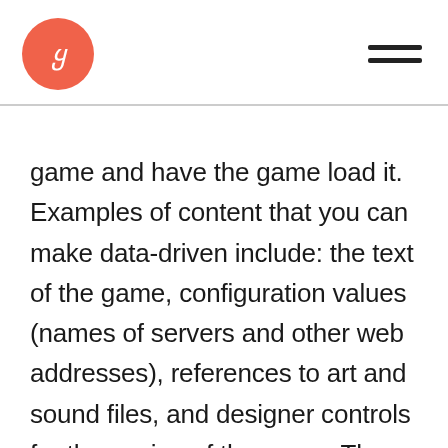[logo] [navigation menu]
game and have the game load it. Examples of content that you can make data-driven include: the text of the game, configuration values (names of servers and other web addresses), references to art and sound files, and designer controls for the pacing of the game. The game will adapt to whatever data is provided to it. With content in a simple text file, all developers are